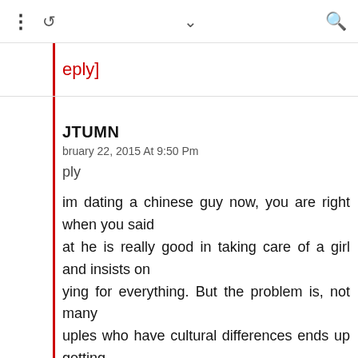: ↺ ∨ 🔍
eply]
JTUMN
bruary 22, 2015 At 9:50 Pm
ply
im dating a chinese guy now, you are right when you said at he is really good in taking care of a girl and insists on ying for everything. But the problem is, not many uples who have cultural differences ends up getting arried. Their parents still prefers a chinese girl for their n. And i'm not sure if he is serious on me.
, I don't know how to end our relationship because i like n a lot.